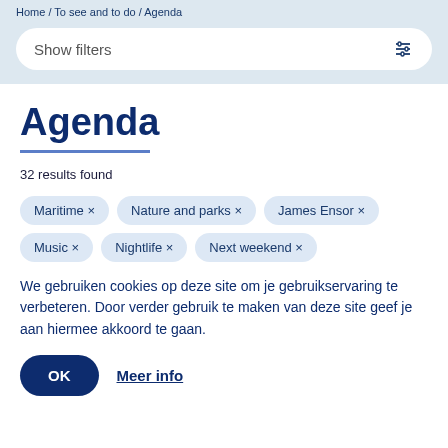Home / To see and to do / Agenda
Show filters
Agenda
32 results found
Maritime ×
Nature and parks ×
James Ensor ×
Music ×
Nightlife ×
Next weekend ×
We gebruiken cookies op deze site om je gebruikservaring te verbeteren. Door verder gebruik te maken van deze site geef je aan hiermee akkoord te gaan.
OK
Meer info